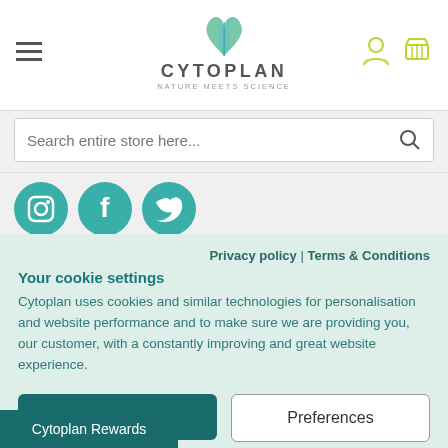[Figure (logo): Cytoplan logo with plant/leaf icon, text CYTOPLAN NATURE MEETS SCIENCE]
Search entire store here...
[Figure (illustration): Social media icons: Instagram, Facebook, Twitter in teal circles]
Customer Service    About Us
Privacy policy | Terms & Conditions
Your cookie settings
Cytoplan uses cookies and similar technologies for personalisation and website performance and to make sure we are providing you, our customer, with a constantly improving and great website experience.
Accept all
Preferences
Cytoplan Rewards